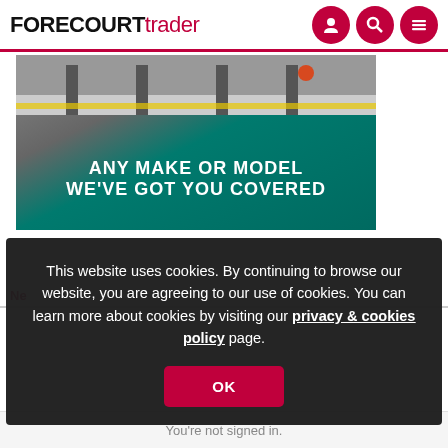FORECOURT trader
[Figure (photo): Advertisement banner with teal/green background showing a forecourt scene with text: ANY MAKE OR MODEL WE'VE GOT YOU COVERED]
Ne
This website uses cookies. By continuing to browse our website, you are agreeing to our use of cookies. You can learn more about cookies by visiting our privacy & cookies policy page.
OK
You're not signed in.